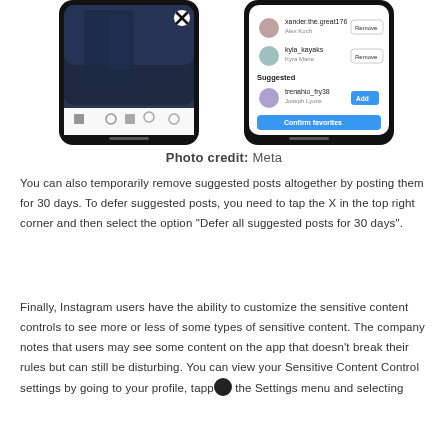[Figure (screenshot): Two smartphone screenshots side-by-side showing Instagram UI. Left phone shows a video post with an X close button. Right phone shows a 'Confirm favorites' screen with user suggestions and an Add button.]
Photo credit: Meta
You can also temporarily remove suggested posts altogether by posting them for 30 days. To defer suggested posts, you need to tap the X in the top right corner and then select the option "Defer all suggested posts for 30 days".
Finally, Instagram users have the ability to customize the sensitive content controls to see more or less of some types of sensitive content. The company notes that users may see some content on the app that doesn't break their rules but can still be disturbing. You can view your Sensitive Content Control settings by going to your profile, tapp the Settings menu and selecting